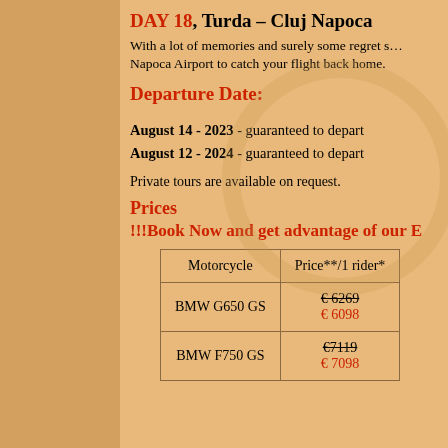DAY 18, Turda – Cluj Napoca
With a lot of memories and surely some regret s… Napoca Airport to catch your flight back home.
Departure Date:
August 14 - 2023 - guaranteed to depart
August 12 - 2024 - guaranteed to depart
Private tours are available on request.
Prices
!!!Book Now and get advantage of our E
| Motorcycle | Price**/1 rider* |
| --- | --- |
| BMW G650 GS | € 6269 / € 6098 |
| BMW F750 GS | €7119 / € 7098 |